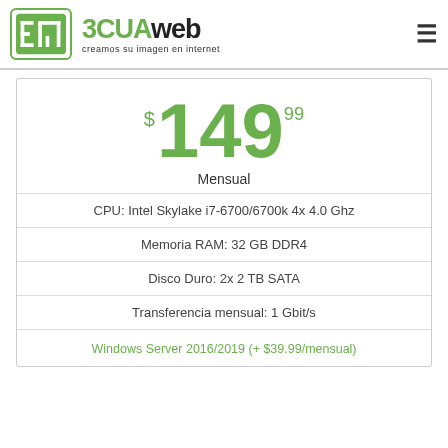3CUAweb creamos su imagen en internet
$149.99 Mensual
CPU: Intel Skylake i7-6700/6700k 4x 4.0 Ghz
Memoria RAM: 32 GB DDR4
Disco Duro: 2x 2 TB SATA
Transferencia mensual: 1 Gbit/s
Windows Server 2016/2019 (+ $39.99/mensual)